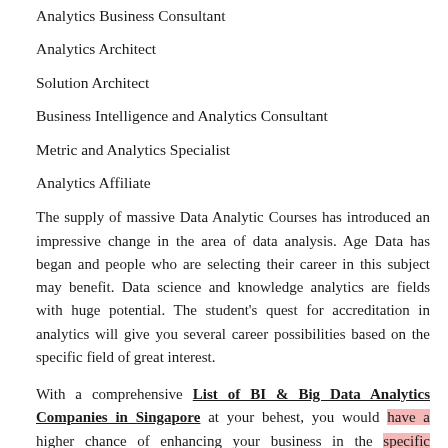Analytics Business Consultant
Analytics Architect
Solution Architect
Business Intelligence and Analytics Consultant
Metric and Analytics Specialist
Analytics Affiliate
The supply of massive Data Analytic Courses has introduced an impressive change in the area of data analysis. Age Data has began and people who are selecting their career in this subject may benefit. Data science and knowledge analytics are fields with huge potential. The student's quest for accreditation in analytics will give you several career possibilities based on the specific field of great interest.
With a comprehensive List of BI & Big Data Analytics Companies in Singapore at your behest, you would have a higher chance of enhancing your business in the specific industry. The Grid would ensure that you get the best services for a suitable...